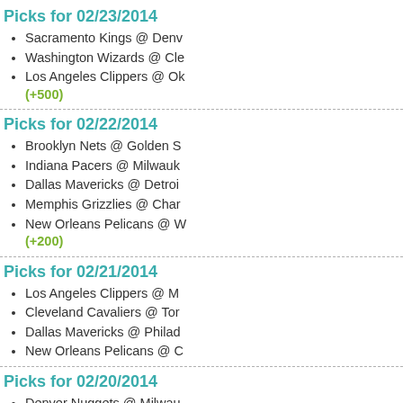Picks for 02/23/2014
Sacramento Kings @ Denv
Washington Wizards @ Cle
Los Angeles Clippers @ Ok (+500)
Picks for 02/22/2014
Brooklyn Nets @ Golden S
Indiana Pacers @ Milwauk
Dallas Mavericks @ Detroi
Memphis Grizzlies @ Char
New Orleans Pelicans @ W (+200)
Picks for 02/21/2014
Los Angeles Clippers @ M
Cleveland Cavaliers @ Tor
Dallas Mavericks @ Philad
New Orleans Pelicans @ C
Picks for 02/20/2014
Denver Nuggets @ Milwau
Miami Heat @ Oklahoma C
Picks for 02/19/2014
Washington Wizards @ Atl